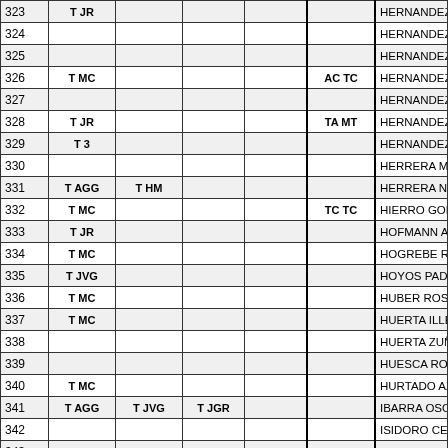| # | Col1 | Col2 | Col3 | Col4 | Col5 | Name |
| --- | --- | --- | --- | --- | --- | --- |
| 323 | T JR |  |  |  |  | HERNANDEZ R... |
| 324 |  |  |  |  |  | HERNANDEZ S... |
| 325 |  |  |  |  |  | HERNANDEZ S... |
| 326 | T MC |  |  |  | AC TC | HERNANDEZ S... |
| 327 |  |  |  |  |  | HERNANDEZ V... |
| 328 | T JR |  |  |  | TA MT | HERNANDEZ V... |
| 329 | T 3 |  |  |  |  | HERNANDEZ Z... |
| 330 |  |  |  |  |  | HERRERA MO... |
| 331 | T AGG | T HM |  |  |  | HERRERA NAV... |
| 332 | T MC |  |  |  | TC TC | HIERRO GOMB... |
| 333 | T JR |  |  |  |  | HOFMANN AG... |
| 334 | T MC |  |  |  |  | HOGREBE RO... |
| 335 | T JVG |  |  |  |  | HOYOS PADILL... |
| 336 | T MC |  |  |  |  | HUBER ROSAS... |
| 337 | T MC |  |  |  |  | HUERTA ILLES... |
| 338 |  |  |  |  |  | HUERTA ZUÑIG... |
| 339 |  |  |  |  |  | HUESCA RODR... |
| 340 | T MC |  |  |  |  | HURTADO AZP... |
| 341 | T AGG | T JVG | T JGR |  |  | IBARRA OSOR... |
| 342 |  |  |  |  |  | ISIDORO CERV... |
| 343 |  |  |  |  |  | ISITA ILLI... |